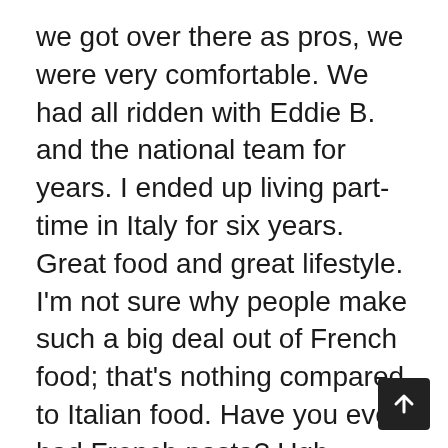we got over there as pros, we were very comfortable. We had all ridden with Eddie B. and the national team for years. I ended up living part-time in Italy for six years. Great food and great lifestyle. I'm not sure why people make such a big deal out of French food; that's nothing compared to Italian food. Have you ever had French pasta? Ugh.
PEZ: You retired after the 1995 season, and then came back to work in the bike shop?
Kiefel: My father actually bought Wheat Ridge Cyclery in 1973. Now I'm the general manager. We have about 30,000 square feet and are the largest single store in Colorado. It was a hard transition to make, because you mourn the